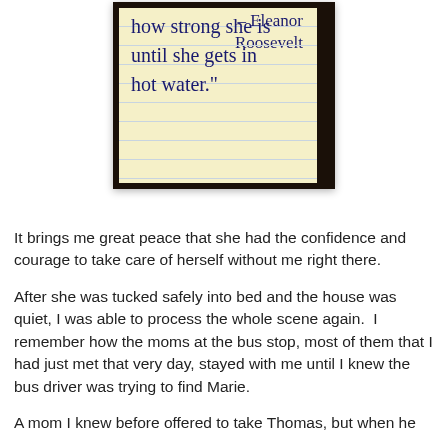[Figure (photo): Photo of handwritten quote on lined paper in a dark wooden frame. The visible text reads: 'how strong she is until she gets in hot water.' - Eleanor Roosevelt]
It brings me great peace that she had the confidence and courage to take care of herself without me right there.
After she was tucked safely into bed and the house was quiet, I was able to process the whole scene again.  I remember how the moms at the bus stop, most of them that I had just met that very day, stayed with me until I knew the bus driver was trying to find Marie.
A mom I knew before offered to take Thomas, but when he